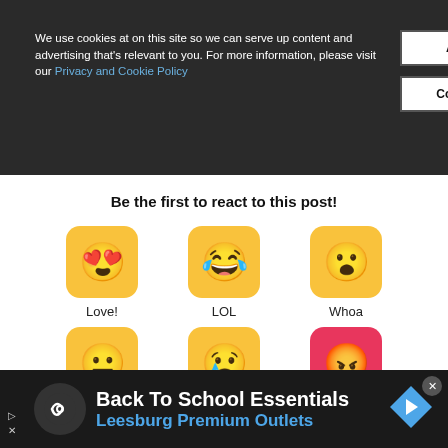We use cookies at on this site so we can serve up content and advertising that's relevant to you. For more information, please visit our Privacy and Cookie Policy
Accept Cookies
Cookie Information
Be the first to react to this post!
[Figure (illustration): Six emoji reaction buttons: Love! (heart eyes), LOL (laughing with tears), Whoa (surprised), neutral face, sad face, angry face]
Back To School Essentials Leesburg Premium Outlets